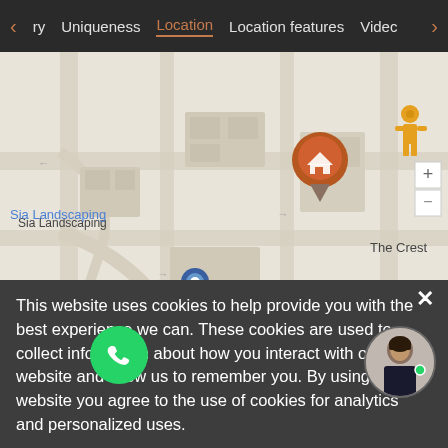< ry  Uniqueness  Location  Location features  Video >
[Figure (map): Google Maps showing location with pin marker labeled 'The Crest', nearby 'Sia Landscaping' label with blue location marker, 'a Garden center' label at bottom left, street view figure icon at top right of map, map navigation controls on right side, Google logo and ©2022 copyright at bottom]
This website uses cookies to help provide you with the best experience we can. These cookies are used to collect information about how you interact with our website and allow us to remember you. By using this website you agree to the use of cookies for analytics and personalized uses.
ACCEPT
ydan One  4.8 km